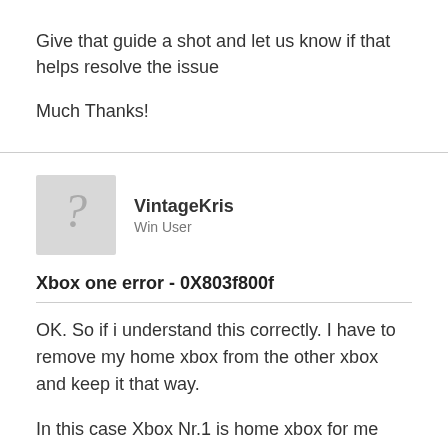Give that guide a shot and let us know if that helps resolve the issue
Much Thanks!
VintageKris
Win User
Xbox one error - 0X803f800f
OK. So if i understand this correctly. I have to remove my home xbox from the other xbox and keep it that way.
In this case Xbox Nr.1 is home xbox for me and my brothers accont. And for Xbox Nr.2 there is no account with home xbox? Is this correct? We can